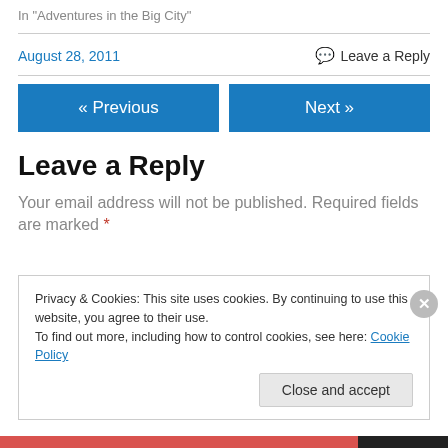In "Adventures in the Big City"
August 28, 2011
Leave a Reply
« Previous
Next »
Leave a Reply
Your email address will not be published. Required fields are marked *
Privacy & Cookies: This site uses cookies. By continuing to use this website, you agree to their use.
To find out more, including how to control cookies, see here: Cookie Policy
Close and accept